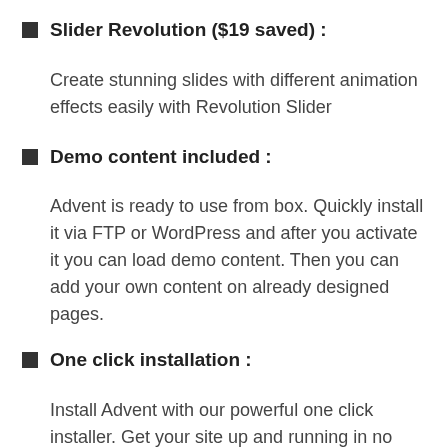Slider Revolution ($19 saved) :
Create stunning slides with different animation effects easily with Revolution Slider
Demo content included :
Advent is ready to use from box. Quickly install it via FTP or WordPress and after you activate it you can load demo content. Then you can add your own content on already designed pages.
One click installation :
Install Advent with our powerful one click installer. Get your site up and running in no time. Quick